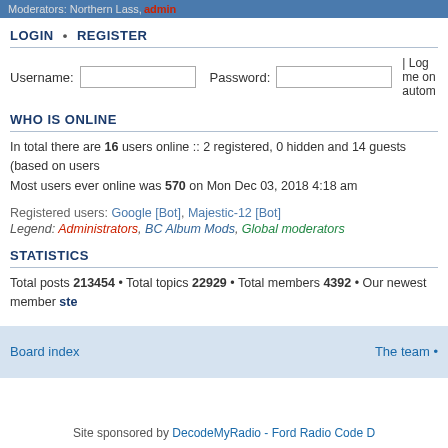Moderators: Northern Lass, admin
LOGIN • REGISTER
Username:  Password:  | Log me on autom
WHO IS ONLINE
In total there are 16 users online :: 2 registered, 0 hidden and 14 guests (based on users
Most users ever online was 570 on Mon Dec 03, 2018 4:18 am
Registered users: Google [Bot], Majestic-12 [Bot]
Legend: Administrators, BC Album Mods, Global moderators
STATISTICS
Total posts 213454 • Total topics 22929 • Total members 4392 • Our newest member ste
Board index   The team •
Site sponsored by DecodeMyRadio - Ford Radio Code D